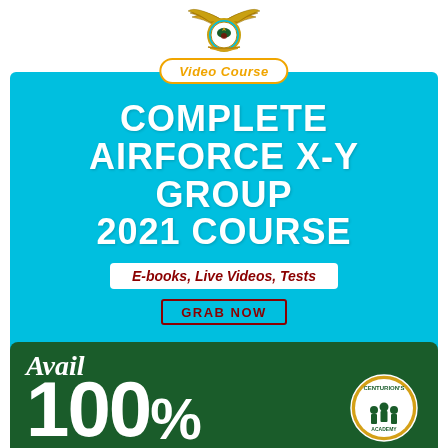[Figure (logo): Indian Air Force emblem/crest with eagle wings at top, circular badge with motto ribbon]
Video Course
COMPLETE AIRFORCE X-Y GROUP 2021 COURSE
E-books, Live Videos, Tests
GRAB NOW
centuriondefenceacademy.com
Avail 100%
[Figure (logo): Centurion's academy circular badge with soldiers silhouette]